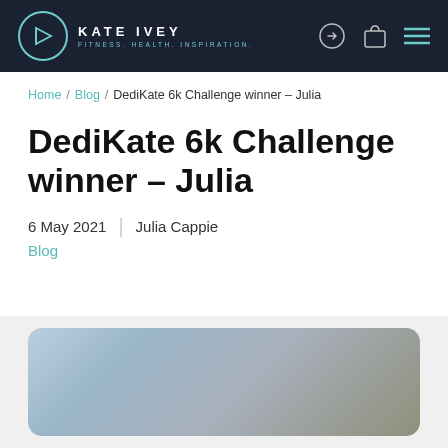KATE IVEY FITNESS. HEALTH. INSPIRATION.
Home / Blog / DediKate 6k Challenge winner – Julia
DediKate 6k Challenge winner – Julia
6 May 2021  |  Julia Cappie
Blog
[Figure (photo): Partially visible image card with blue-gray gradient background, rounded corners, cropped at bottom of page]